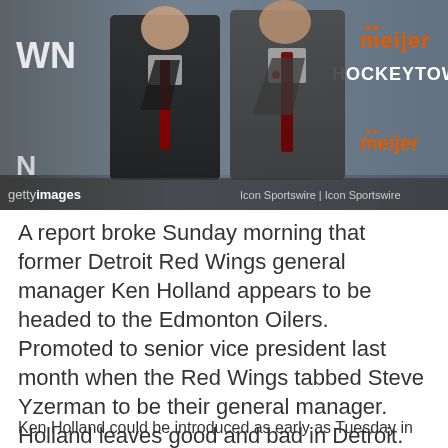[Figure (photo): Two men in suits standing together at a press conference backdrop with 'meijer' and 'HOCKEYTOWN' logos visible. Getty Images watermark visible at bottom left, 'Icon Sportswire | Icon Sportswire' at bottom right.]
A report broke Sunday morning that former Detroit Red Wings general manager Ken Holland appears to be headed to the Edmonton Oilers. Promoted to senior vice president last month when the Red Wings tabbed Steve Yzerman to be their general manager. Holland leaves good and bad in Detroit.
Ken Holland could be introduced as early as Tuesday in